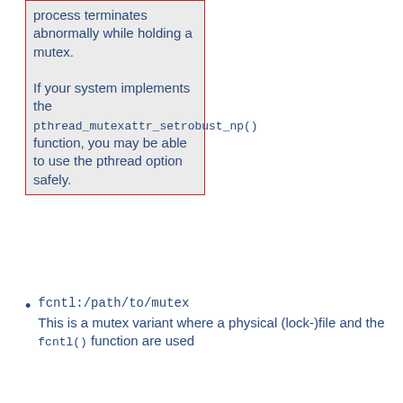process terminates abnormally while holding a mutex.

If your system implements the pthread_mutexattr_setrobust_np() function, you may be able to use the pthread option safely.
fcntl:/path/to/mutex
This is a mutex variant where a physical (lock-)file and the fcntl() function are used